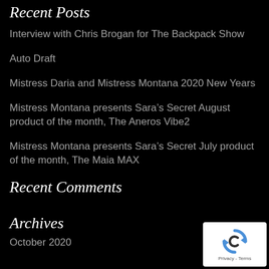Recent Posts
Interview with Chris Brogan for The Backpack Show
Auto Draft
Mistress Daria and Mistress Montana 2020 New Years
Mistress Montana presents Sara’s Secret August product of the month, The Aneros Vibe2
Mistress Montana presents Sara’s Secret July product of the month, The Maia MAX
Recent Comments
Archives
October 2020
[Figure (logo): reCAPTCHA badge with blue logo and Privacy - Terms text]